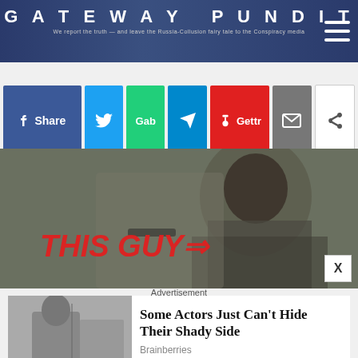GATEWAY PUNDIT — We report the truth — and leave the Russia-Collusion fairy tale to the Conspiracy media
[Figure (other): Social sharing buttons row: Facebook Share, Twitter, Gab, Telegram, Gettr, Email, Share]
[Figure (photo): Photo of a man in glasses with red text overlay reading THIS GUY and an arrow pointing right, with an X close button]
Advertisement
[Figure (screenshot): Advertisement: photo of man with outstretched arms next to text 'Some Actors Just Can't Hide Their Shady Side' from Brainberries]